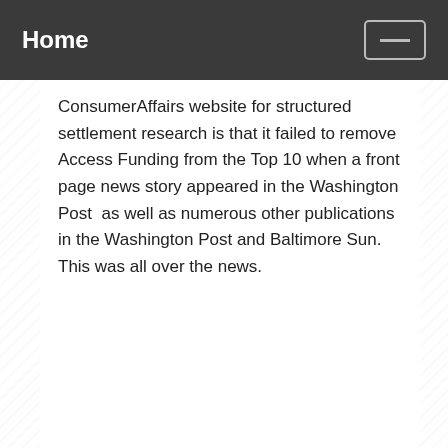Home
ConsumerAffairs website for structured settlement research is that it failed to remove Access Funding from the Top 10 when a front page news story appeared in the Washington Post  as well as numerous other publications in the Washington Post and Baltimore Sun.  This was all over the news.
Posted at 10:58 AM in Baltimore Structured Settlements, Bethesda Structured Settlements, Chevy Chase Structured Settlements, Lead Paint Structured Settlements, Misinformation about Structured Settlement Factoring, Montgomery County Structured Settlements, Structured Settlement Factoring News, Structured Settlement Humor, Structured Settlement Watchdog®, Virginia Structured Settlements, Washington DC Structured Settlements, Washington Structured